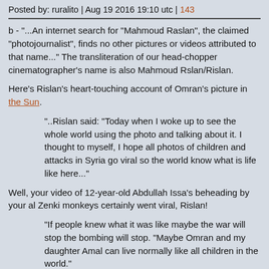Posted by: ruralito | Aug 19 2016 19:10 utc | 143
b - "...An internet search for "Mahmoud Raslan", the claimed "photojournalist", finds no other pictures or videos attributed to that name..." The transliteration of our head-chopper cinematographer's name is also Mahmoud Rslan/Rislan.
Here's Rislan's heart-touching account of Omran's picture in the Sun.
"..Rislan said: "Today when I woke up to see the whole world using the photo and talking about it. I thought to myself, I hope all photos of children and attacks in Syria go viral so the world know what is life like here..."
Well, your video of 12-year-old Abdullah Issa's beheading by your al Zenki monkeys certainly went viral, Rislan!
"If people knew what it was like maybe the war will stop the bombing will stop. "Maybe Omran and my daughter Amal can live normally like all children in the world."
Omran and his daughter Amal, but not Abdullah Issa because he (supposedly) supported Assad. Sanckbar! Some children just need beheading...